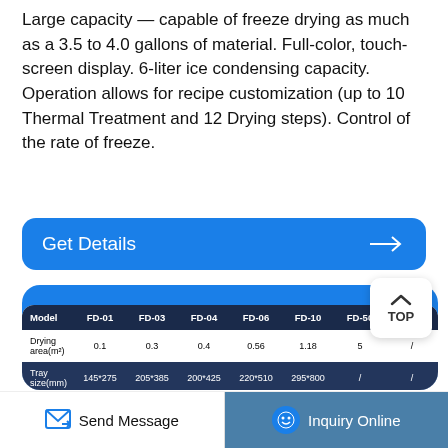Large capacity — capable of freeze drying as much as a 3.5 to 4.0 gallons of material. Full-color, touch-screen display. 6-liter ice condensing capacity. Operation allows for recipe customization (up to 10 Thermal Treatment and 12 Drying steps). Control of the rate of freeze.
Get Details →
| Model | FD-01 | FD-03 | FD-04 | FD-06 | FD-10 | FD-50 | FD-100 |
| --- | --- | --- | --- | --- | --- | --- | --- |
| Drying area(m²) | 0.1 | 0.3 | 0.4 | 0.56 | 1.18 | 5 | / |
| Tray size(mm) | 145*275 | 205*385 | 200*425 | 220*510 | 295*800 | / | / |
| Tray numbers | 4 | 4 | 4 | 5 | 5 | 8 | 7 |
| Capacity(kg) | 2-3 | 3 | 4-6 | 6 | 10-15 | 50 | 100 |
Send Message
Inquiry Online